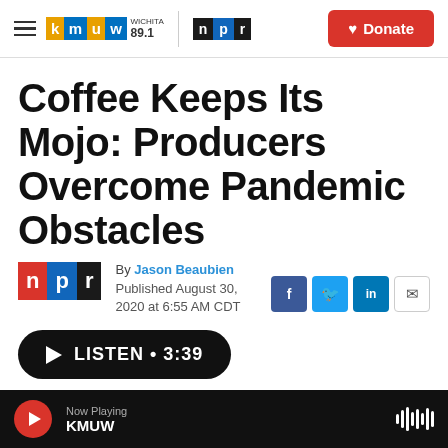KMUW WICHITA 89.1 | NPR | Donate
Coffee Keeps Its Mojo: Producers Overcome Pandemic Obstacles
By Jason Beaubien
Published August 30, 2020 at 6:55 AM CDT
LISTEN • 3:39
Now Playing KMUW